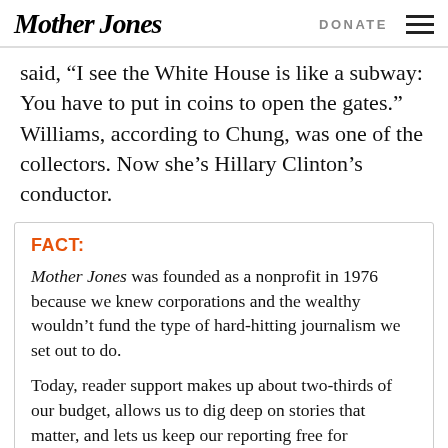Mother Jones | DONATE
said, “I see the White House is like a subway: You have to put in coins to open the gates.” Williams, according to Chung, was one of the collectors. Now she’s Hillary Clinton’s conductor.
FACT:
Mother Jones was founded as a nonprofit in 1976 because we knew corporations and the wealthy wouldn’t fund the type of hard-hitting journalism we set out to do.
Today, reader support makes up about two-thirds of our budget, allows us to dig deep on stories that matter, and lets us keep our reporting free for everyone. If you value what you get from Mother Jones, please join us with a